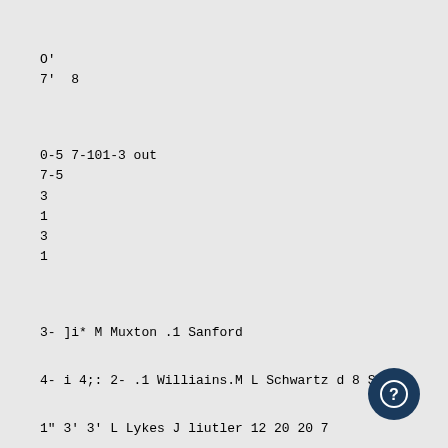O'
7'  8
0-5 7-101-3 out
7-5
3
1
3
1
3- ]i* M Muxton .1 Sanford
4- i 4;: 2- .1 Williains.M L Schwartz d 8 S ;i
1″ 3' 3' L Lykes J liutler 12 20 20 7
K Troxh r .1 W McCMellund G 8 8 2i